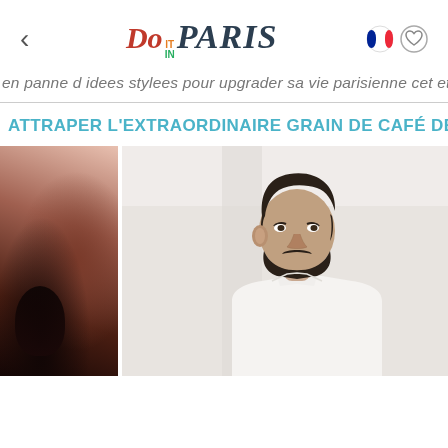Do it in PARIS
en panne d idees stylees pour upgrader sa vie parisienne cet ete :
ATTRAPER L'EXTRAORDINAIRE GRAIN DE CAFÉ DE LE
[Figure (photo): Two-panel photo: left panel shows a dark abstract coffee or artistic image; right panel shows a man with dark hair and beard wearing a white collarless shirt, photographed from the side/three-quarter angle in a bright setting.]